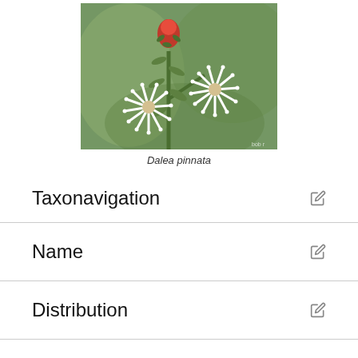[Figure (photo): Close-up photograph of Dalea pinnata plant showing white feathery flowers and a red bud on a stem with green foliage]
Dalea pinnata
Taxonavigation
Name
Distribution